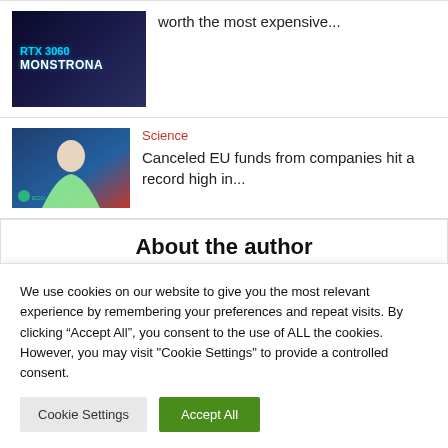[Figure (photo): Thumbnail showing RTX 3060 Monstrona GPU with blue/dark background and cyan text]
worth the most expensive...
[Figure (photo): Thumbnail of a woman in green jacket speaking, with blue background]
Science
Canceled EU funds from companies hit a record high in...
About the author
[Figure (photo): Default gray user avatar/profile picture placeholder]
We use cookies on our website to give you the most relevant experience by remembering your preferences and repeat visits. By clicking “Accept All”, you consent to the use of ALL the cookies. However, you may visit "Cookie Settings" to provide a controlled consent.
Cookie Settings
Accept All